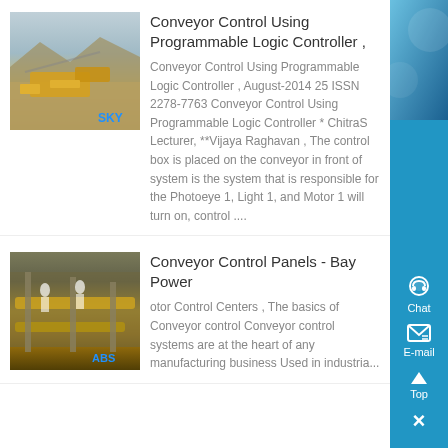[Figure (photo): Mining quarry site with yellow machinery and SKY branding watermark]
Conveyor Control Using Programmable Logic Controller ,
Conveyor Control Using Programmable Logic Controller , August-2014 25 ISSN 2278-7763 Conveyor Control Using Programmable Logic Controller * ChitraS Lecturer, **Vijaya Raghavan , The control box is placed on the conveyor in front of system is the system that is responsible for the Photoeye 1, Light 1, and Motor 1 will turn on, control ....
[Figure (photo): Industrial conveyor belt system with yellow machinery]
Conveyor Control Panels - Bay Power
otor Control Centers , The basics of Conveyor control Conveyor control systems are at the heart of any manufacturing business Used in industria...